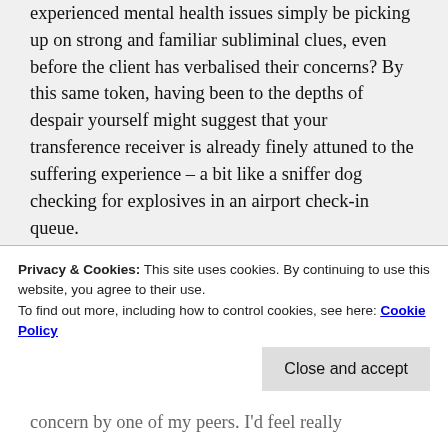experienced mental health issues simply be picking up on strong and familiar subliminal clues, even before the client has verbalised their concerns? By this same token, having been to the depths of despair yourself might suggest that your transference receiver is already finely attuned to the suffering experience – a bit like a sniffer dog checking for explosives in an airport check-in queue.
This exquisite sensitivity used to frighten me – I used to consider it a 'weirdness' and try to hide it away from others, but I now regard it as a magical power in my counselling toolkit. To put it another way, therapy is hard work, my experience of mental health issues
Privacy & Cookies: This site uses cookies. By continuing to use this website, you agree to their use.
To find out more, including how to control cookies, see here: Cookie Policy
concern by one of my peers. I'd feel really